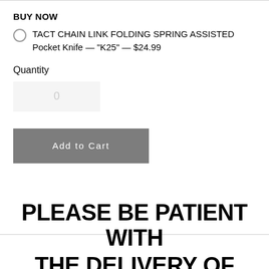BUY NOW
TACT CHAIN LINK FOLDING SPRING ASSISTED Pocket Knife — "K25" — $24.99
Quantity
0
Add to Cart
PLEASE BE PATIENT WITH THE DELIVERY OF YOUR